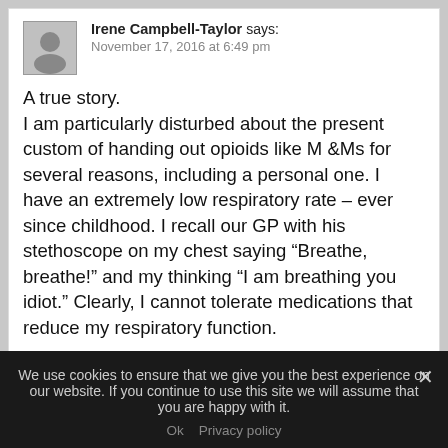Irene Campbell-Taylor says: November 17, 2016 at 6:49 pm
A true story. I am particularly disturbed about the present custom of handing out opioids like M &Ms for several reasons, including a personal one. I have an extremely low respiratory rate – ever since childhood. I recall our GP with his stethoscope on my chest saying “Breathe, breathe!” and my thinking “I am breathing you idiot.” Clearly, I cannot tolerate medications that reduce my respiratory function.
We use cookies to ensure that we give you the best experience on our website. If you continue to use this site we will assume that you are happy with it.
Ok   Privacy policy